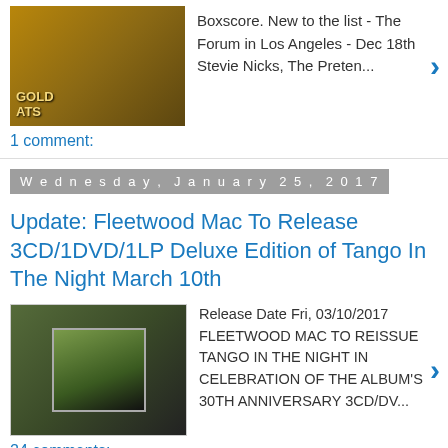[Figure (photo): Album cover thumbnail, dark gold tones with text 'GOLD HITS']
Boxscore. New to the list - The Forum in Los Angeles - Dec 18th Stevie Nicks, The Preten...
1 comment:
Wednesday, January 25, 2017
Update: Fleetwood Mac To Release 3CD/1DVD/1LP Deluxe Edition of Tango In The Night March 10th
[Figure (photo): Tango In The Night album boxset thumbnail, dark green/brown tones]
Release Date Fri, 03/10/2017 FLEETWOOD MAC TO REISSUE TANGO IN THE NIGHT IN CELEBRATION OF THE ALBUM'S 30TH ANNIVERSARY 3CD/DV...
24 comments:
Saturday, January 21, 2017
Interview Stevie Nicks: 'I was so sick — I couldn't shower. I almost died'